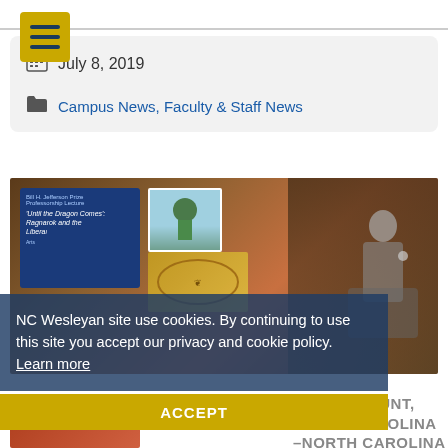[Figure (other): Yellow/gold hamburger menu icon button with three horizontal dark blue lines on a gold/yellow rounded square background]
July 8, 2019
Campus News, Faculty & Staff News
[Figure (photo): Event photo showing a speaker at a podium with books and presentation slides visible, including a slide titled 'Until the Dragon Comes: Ragnarok and the Liberal...']
NC Wesleyan site use cookies. By continuing to use this site you accept our privacy and cookie policy. Learn more
ACCEPT
ROCKY MOUNT, NORTH CAROLINA –North Carolina